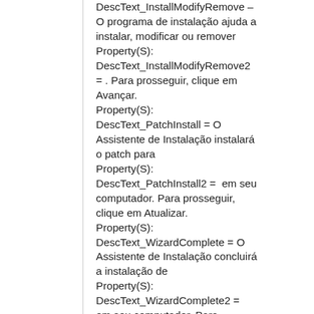DescText_InstallModifyRemove – O programa de instalação ajuda a instalar, modificar ou remover Property(S): DescText_InstallModifyRemove2 = . Para prosseguir, clique em Avançar. Property(S): DescText_PatchInstall = O Assistente de Instalação instalará o patch para Property(S): DescText_PatchInstall2 =  em seu computador. Para prosseguir, clique em Atualizar. Property(S): DescText_WizardComplete = O Assistente de Instalação concluirá a instalação de Property(S): DescText_WizardComplete2 = em seu computador. Para prosseguir, clique em Avançar.